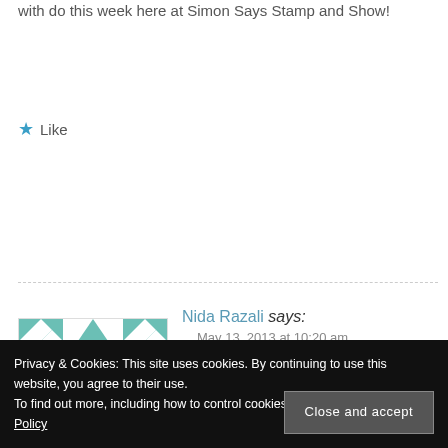with do this week here at Simon Says Stamp and Show!
★ Like
REPLY
Nida Razali says:
May 13, 2013 at 10:20 am
Beautiful piece of art.
Love the hair.
Privacy & Cookies: This site uses cookies. By continuing to use this website, you agree to their use. To find out more, including how to control cookies, see here: Our Cookie Policy
Close and accept